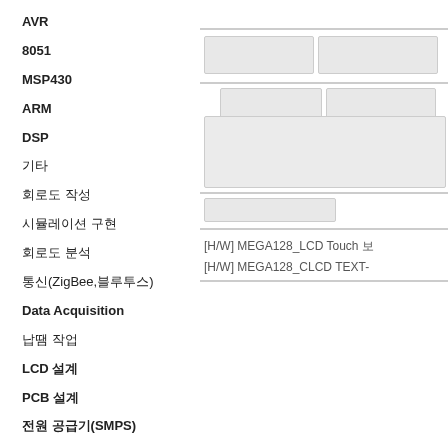AVR
8051
MSP430
ARM
DSP
기타
회로도 작성
시뮬레이션 구현
회로도 분석
통신(ZigBee,블루투스)
Data Acquisition
납땜 작업
LCD 설계
PCB 설계
전원 공급기(SMPS)
납땜 작업
[Figure (screenshot): UI elements: horizontal bar, two buttons row, textarea, input field, text entries for [H/W] MEGA128_LCD Touch and [H/W] MEGA128_CLCD TEXT-]